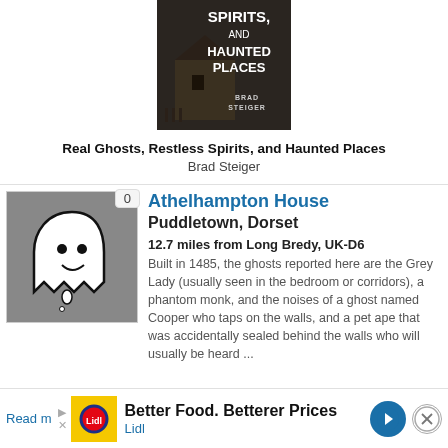[Figure (photo): Book cover for 'Real Ghosts, Restless Spirits, and Haunted Places' by Brad Steiger — dark cover with haunted house imagery]
Real Ghosts, Restless Spirits, and Haunted Places
Brad Steiger
[Figure (illustration): Ghost icon — white cartoon ghost with smiley face on grey background. Badge showing count of 0.]
Athelhampton House
Puddletown, Dorset
12.7 miles from Long Bredy, UK-D6
Built in 1485, the ghosts reported here are the Grey Lady (usually seen in the bedroom or corridors), a phantom monk, and the noises of a ghost named Cooper who taps on the walls, and a pet ape that was accidentally sealed behind the walls who will usually be heard ...
Read m
Better Food. Betterer Prices
Lidl